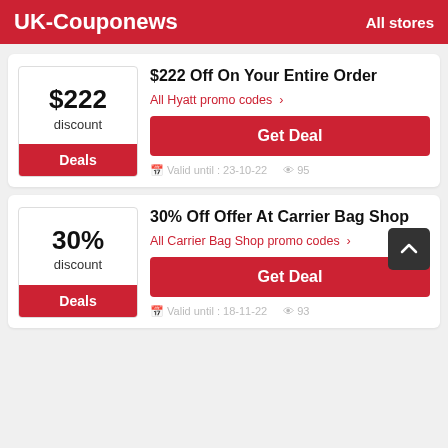UK-Couponews  All stores
$222 Off On Your Entire Order
All Hyatt promo codes >
Get Deal
Valid until : 23-10-22   95
30% Off Offer At Carrier Bag Shop
All Carrier Bag Shop promo codes >
Get Deal
Valid until : 18-11-22   93